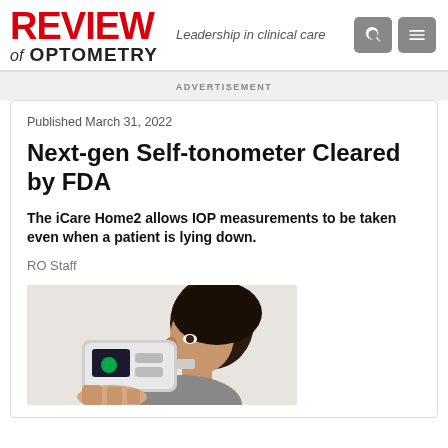REVIEW of OPTOMETRY — Leadership in clinical care
ADVERTISEMENT
Published March 31, 2022
Next-gen Self-tonometer Cleared by FDA
The iCare Home2 allows IOP measurements to be taken even when a patient is lying down.
RO Staff
[Figure (photo): A person using a handheld tonometer device near their eye, side profile view showing the device and the patient's face.]